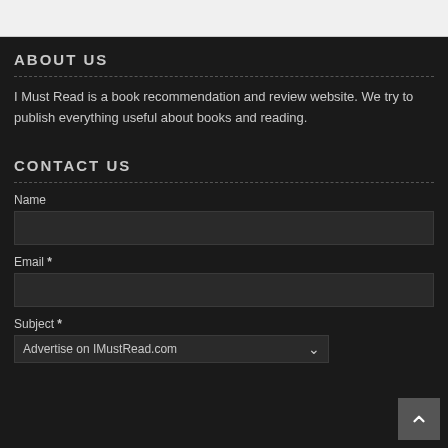ABOUT US
I Must Read is a book recommendation and review website. We try to publish everything useful about books and reading.
CONTACT US
Name
Email *
Subject *